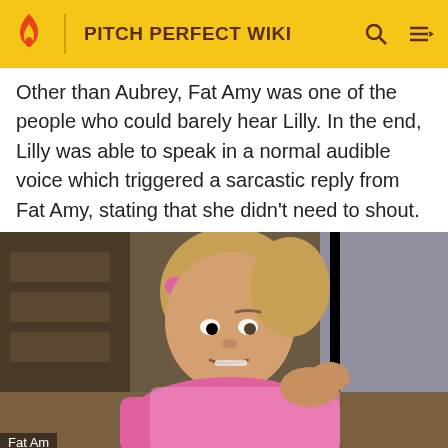PITCH PERFECT WIKI
Other than Aubrey, Fat Amy was one of the people who could barely hear Lilly. In the end, Lilly was able to speak in a normal audible voice which triggered a sarcastic reply from Fat Amy, stating that she didn't need to shout.
[Figure (photo): A woman wearing pink outfit with pink headband, making an expressive face, from Pitch Perfect. Caption reads: Fat Am[y]]
We want your honest take on online discussions
SURVEY: ONLINE FORUMS
In the